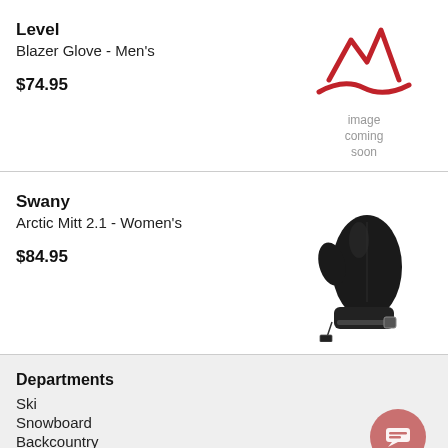Level
Blazer Glove - Men's
$74.95
[Figure (illustration): Red mountain/wave logo with 'image coming soon' text below]
Swany
Arctic Mitt 2.1 - Women's
$84.95
[Figure (photo): Black women's ski/snowboard mitten - Arctic Mitt 2.1 by Swany]
Departments
Ski
Snowboard
Backcountry
Mens